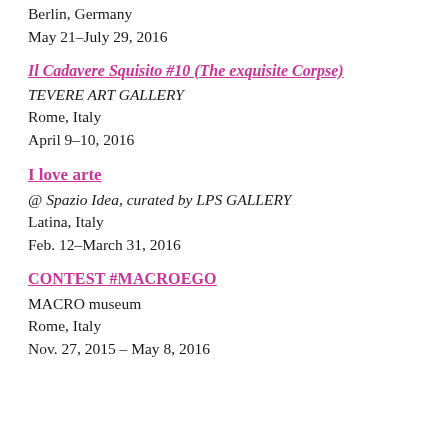Berlin, Germany
May 21–July 29, 2016
Il Cadavere Squisito #10 (The exquisite Corpse)
TEVERE ART GALLERY
Rome, Italy
April 9–10, 2016
I love arte
@ Spazio Idea, curated by LPS GALLERY
Latina, Italy
Feb. 12–March 31, 2016
CONTEST #MACROEGO
MACRO museum
Rome, Italy
Nov. 27, 2015 – May 8, 2016